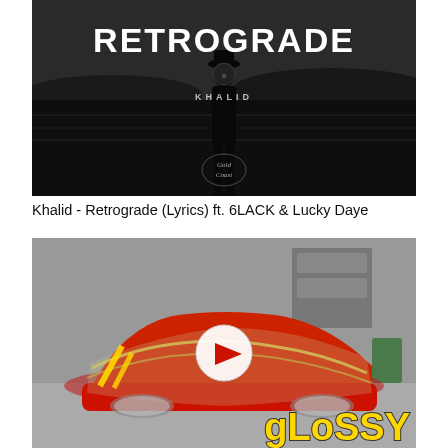[Figure (screenshot): YouTube thumbnail for Khalid - Retrograde (Lyrics) ft. 6LACK & Lucky Daye. Dark moody image with silhouette of person, large white bold text 'RETROGRADE' and 'KHALID' below, Gold Coast logo at bottom.]
Khalid - Retrograde (Lyrics) ft. 6LACK & Lucky Daye
[Figure (screenshot): YouTube thumbnail showing a red sports car being wrapped/painted in a garage, with a play button overlay and 'gLoSSY' text in yellow at the bottom right.]